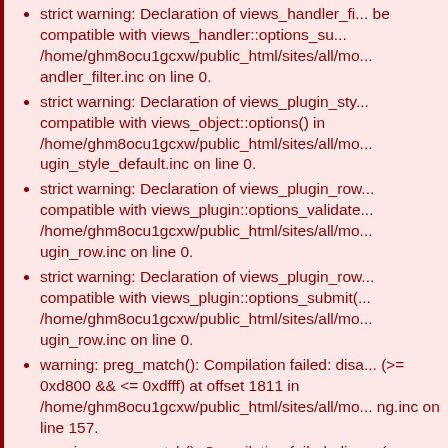strict warning: Declaration of views_handler_fi... be compatible with views_handler::options_su... /home/ghm8ocu1gcxw/public_html/sites/all/mo... andler_filter.inc on line 0.
strict warning: Declaration of views_plugin_sty... compatible with views_object::options() in /home/ghm8ocu1gcxw/public_html/sites/all/mo... ugin_style_default.inc on line 0.
strict warning: Declaration of views_plugin_row... compatible with views_plugin::options_validate... /home/ghm8ocu1gcxw/public_html/sites/all/mo... ugin_row.inc on line 0.
strict warning: Declaration of views_plugin_row... compatible with views_plugin::options_submit(... /home/ghm8ocu1gcxw/public_html/sites/all/mo... ugin_row.inc on line 0.
warning: preg_match(): Compilation failed: disa... (>= 0xd800 && <= 0xdfff) at offset 1811 in /home/ghm8ocu1gcxw/public_html/sites/all/mo... ng.inc on line 157.
warning: preg_match(): Compilation failed: disa... (>= 0xd800 && <= 0xdfff) at offset 1811 in